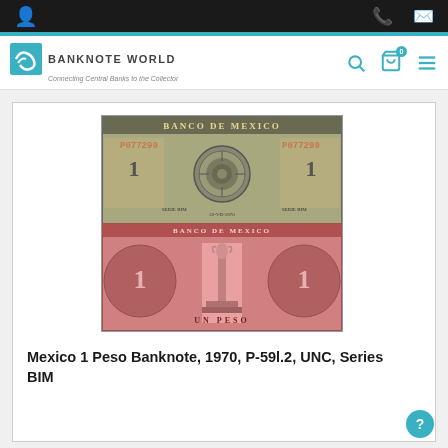Banknote World — Connecting Central Banks to the Collector
[Figure (photo): Mexico 1 Peso banknote front side: grey-blue, serial number P077299, Aztec calendar center, Banco de México header, Series BIM]
[Figure (photo): Mexico 1 Peso banknote back side: red/pink, angel of independence monument center, Un Peso text, decorative engravings]
Mexico 1 Peso Banknote, 1970, P-59l.2, UNC, Series BIM